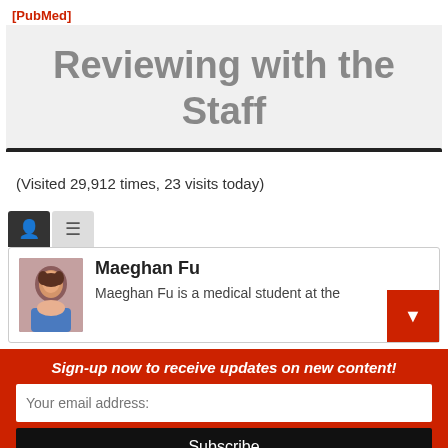[PubMed]
Reviewing with the Staff
(Visited 29,912 times, 23 visits today)
[Figure (screenshot): Author card for Maeghan Fu showing profile photo, name, and partial bio text 'Maeghan Fu is a medical student at the']
Sign-up now to receive updates on new content!
Your email address:
Subscribe